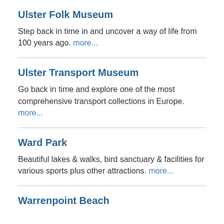Ulster Folk Museum
Step back in time in and uncover a way of life from 100 years ago. more...
Ulster Transport Museum
Go back in time and explore one of the most comprehensive transport collections in Europe. more...
Ward Park
Beautiful lakes & walks, bird sanctuary & facilities for various sports plus other attractions. more...
Warrenpoint Beach